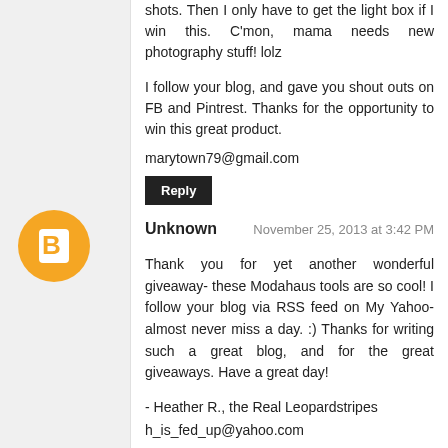shots. Then I only have to get the light box if I win this. C'mon, mama needs new photography stuff! lolz
I follow your blog, and gave you shout outs on FB and Pintrest. Thanks for the opportunity to win this great product.
marytown79@gmail.com
Reply
Unknown
November 25, 2013 at 3:42 PM
Thank you for yet another wonderful giveaway- these Modahaus tools are so cool! I follow your blog via RSS feed on My Yahoo- almost never miss a day. :) Thanks for writing such a great blog, and for the great giveaways. Have a great day!
- Heather R., the Real Leopardstripes
h_is_fed_up@yahoo.com
Reply